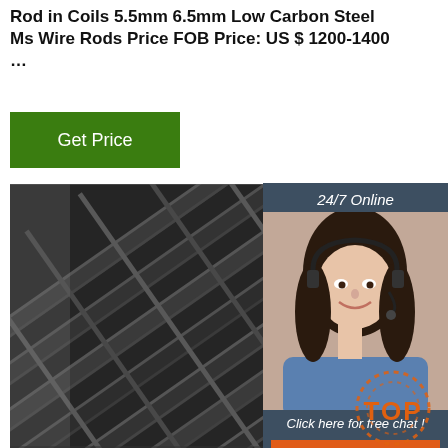Rod in Coils 5.5mm 6.5mm Low Carbon Steel Ms Wire Rods Price FOB Price: US $ 1200-1400 …
Get Price
[Figure (photo): Steel H-beams or angle iron structural steel sections stacked, dark metallic industrial photo]
[Figure (photo): 24/7 Online chat widget with woman wearing headset, smiling, with quotation button]
[Figure (logo): TOP badge with orange dotted arc and orange TOP text]